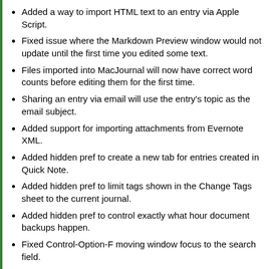Added a way to import HTML text to an entry via Apple Script.
Fixed issue where the Markdown Preview window would not update until the first time you edited some text.
Files imported into MacJournal will now have correct word counts before editing them for the first time.
Sharing an entry via email will use the entry's topic as the email subject.
Added support for importing attachments from Evernote XML.
Added hidden pref to create a new tab for entries created in Quick Note.
Added hidden pref to limit tags shown in the Change Tags sheet to the current journal.
Added hidden pref to control exactly what hour document backups happen.
Fixed Control-Option-F moving window focus to the search field.
Improved handling of WordPress.com servers when the new API is enabled.